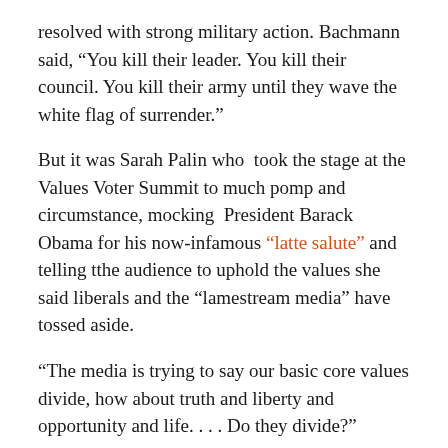resolved with strong military action. Bachmann said, “You kill their leader. You kill their council. You kill their army until they wave the white flag of surrender.”
But it was Sarah Palin who took the stage at the Values Voter Summit to much pomp and circumstance, mocking President Barack Obama for his now-infamous “latte salute” and telling tthe audience to uphold the values she said liberals and the “lamestream media” have tossed aside.
“The media is trying to say our basic core values divide, how about truth and liberty and opportunity and life. . . . Do they divide?”
The part pep talk, part lunatic rant the usual right wing rhetoric “why are the liberals so intolerant?” and “do you think it’s time to abolish the IRS?” with Palin making a fool of herself once again by getting the of the White House